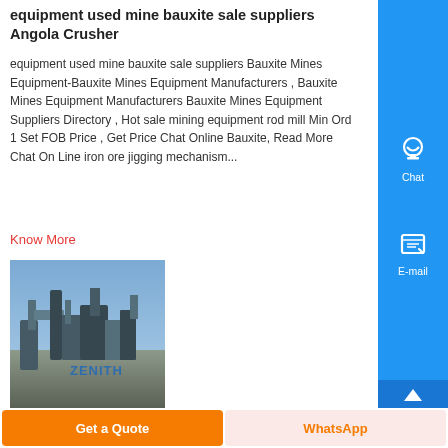equipment used mine bauxite sale suppliers Angola Crusher
equipment used mine bauxite sale suppliers Bauxite Mines Equipment-Bauxite Mines Equipment Manufacturers , Bauxite Mines Equipment Manufacturers Bauxite Mines Equipment Suppliers Directory , Hot sale mining equipment rod mill Min Ord 1 Set FOB Price , Get Price Chat Online Bauxite, Read More Chat On Line iron ore jigging mechanism...
Know More
[Figure (photo): Mining equipment/machinery photograph with ZENITH watermark]
Get a Quote
WhatsApp